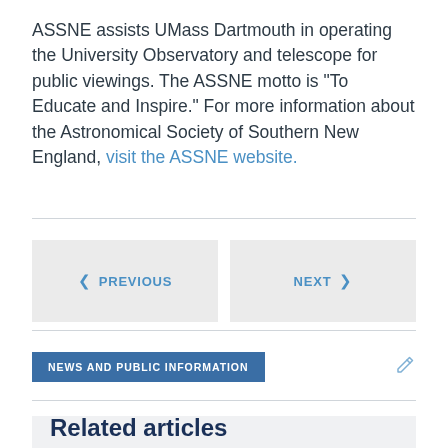ASSNE assists UMass Dartmouth in operating the University Observatory and telescope for public viewings. The ASSNE motto is "To Educate and Inspire." For more information about the Astronomical Society of Southern New England, visit the ASSNE website.
[Figure (other): Navigation buttons: PREVIOUS (left arrow) and NEXT (right arrow) on light grey backgrounds]
NEWS AND PUBLIC INFORMATION
Related articles